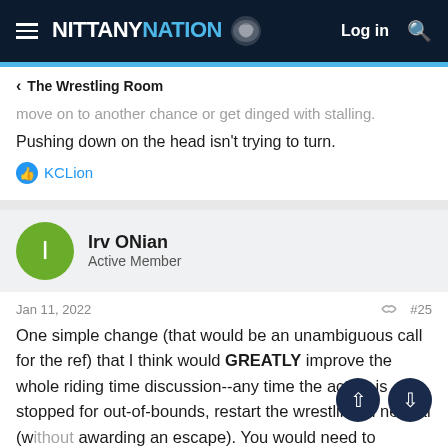NITTANY NATION — Log in
The Wrestling Room
move on to another chance or get dinged with stalling. Pushing down on the head isn't trying to turn.
KCLion
Irv ONian
Active Member
Jan 11, 2022
#25
One simple change (that would be an unambiguous call for the ref) that I think would GREATLY improve the whole riding time discussion--any time the action is stopped for out-of-bounds, restart the wrestling in neutral (w/out awarding an escape). You would need to maintain the stall